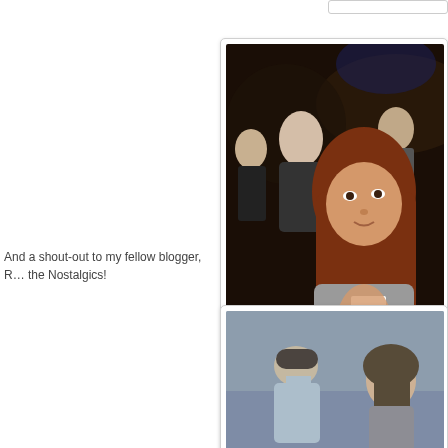[Figure (photo): A woman with long reddish hair at what appears to be a party or bar, wearing a red wristband, with people in the background]
My roomma…
And a shout-out to my fellow blogger, R… the Nostalgics!
[Figure (photo): Two people, one in a light blue shirt, at what appears to be a music venue or concert setting]